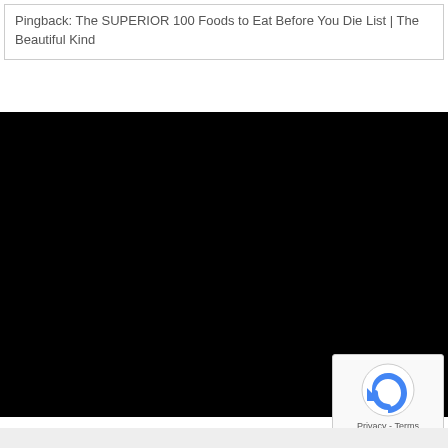Pingback: The SUPERIOR 100 Foods to Eat Before You Die List | The Beautiful Kind
[Figure (other): Large black rectangle area, likely a video embed or loading content area]
[Figure (other): reCAPTCHA badge with rotating arrow icon and Privacy - Terms text]